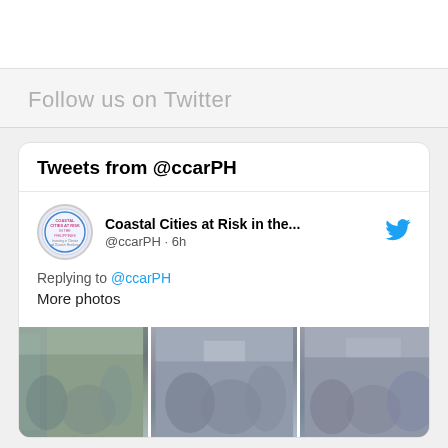Follow us on Twitter
Tweets from @ccarPH
Coastal Cities at Risk in the...
@ccarPH · 6h
Replying to @ccarPH
More photos
[Figure (photo): Three thumbnail photos showing people gathered at an indoor event/conference]
[Figure (logo): Circular logo for Coastal Cities at Risk in the Philippines]